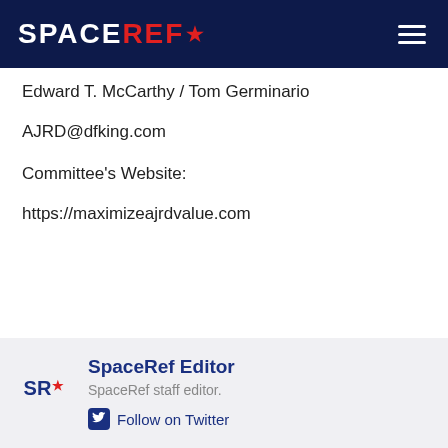SPACEREF*
Edward T. McCarthy / Tom Germinario
AJRD@dfking.com
Committee's Website:
https://maximizeajrdvalue.com
SpaceRef Editor
SpaceRef staff editor.
Follow on Twitter